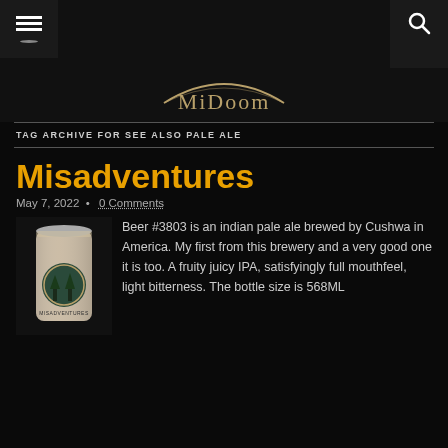Navigation bar with hamburger menu and search icon
[Figure (logo): MiDoom website logo with decorative arch shape in gold/brown color]
TAG ARCHIVE FOR SEE ALSO PALE ALE
Misadventures
May 7, 2022 • 0 Comments
[Figure (photo): Beer can of Misadventures IPA brewed by Cushwa]
Beer #3803 is an indian pale ale brewed by Cushwa in America. My first from this brewery and a very good one it is too. A fruity juicy IPA, satisfyingly full mouthfeel, light bitterness. The bottle size is 568ML